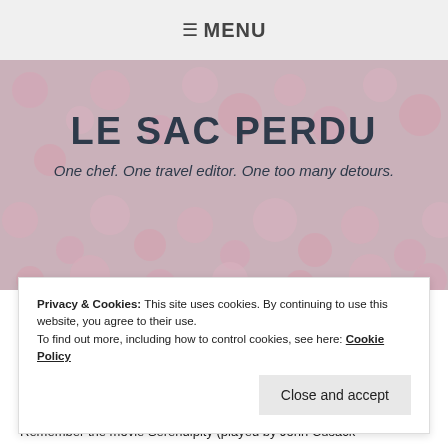≡ MENU
LE SAC PERDU
One chef. One travel editor. One too many detours.
Privacy & Cookies: This site uses cookies. By continuing to use this website, you agree to their use.
To find out more, including how to control cookies, see here: Cookie Policy
Close and accept
Remember the movie Serendipity (played by John Cusack